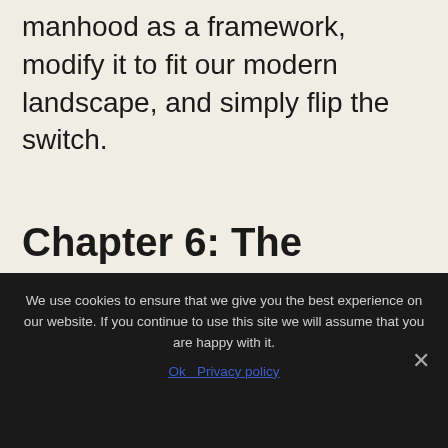manhood as a framework, modify it to fit our modern landscape, and simply flip the switch.
Chapter 6: The Manhood...
We use cookies to ensure that we give you the best experience on our website. If you continue to use this site we will assume that you are happy with it.
Ok   Privacy policy